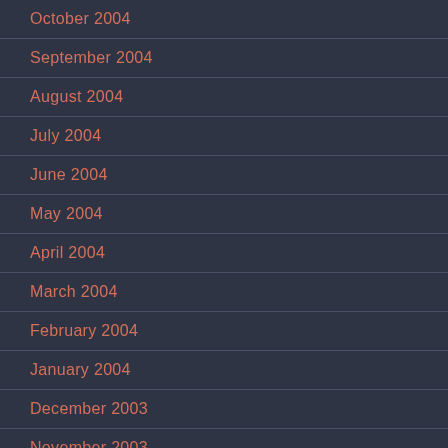October 2004
September 2004
August 2004
July 2004
June 2004
May 2004
April 2004
March 2004
February 2004
January 2004
December 2003
November 2003